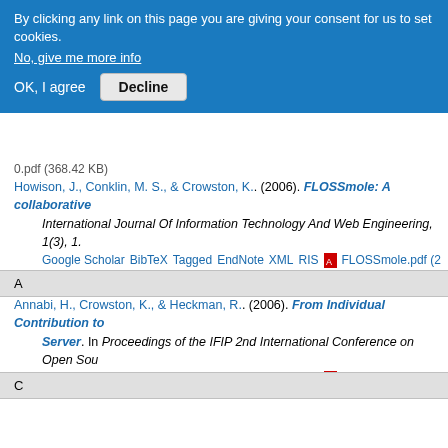By clicking any link on this page you are giving your consent for us to set cookies. No, give me more info
OK, I agree  Decline
0.pdf (368.42 KB)
Howison, J., Conklin, M. S., & Crowston, K.. (2006). FLOSSmole: A collaborative International Journal Of Information Technology And Web Engineering, 1(3), 1. Google Scholar BibTeX Tagged EndNote XML RIS FLOSSmole.pdf (2...
A
Annabi, H., Crowston, K., & Heckman, R.. (2006). From Individual Contribution to Server. In Proceedings of the IFIP 2nd International Conference on Open Sou... Google Scholar BibTeX Tagged EndNote XML RIS From Individual Co...
C
Crowston, K., & Howison, J.. (2006). Hierarchy and centralization in Free and Op Knowledge, Technology & Policy, 18, 65–85. Google Scholar BibTeX Tagged EndNote XML RIS HierarchyAndCent...
Crowston, K., Howison, J., & Annabi, H.. (2006). Information systems success in and measures. Software Process–Improvement And Practice, 11, 123–148. Google Scholar BibTeX Tagged EndNote XML RIS Informatio...